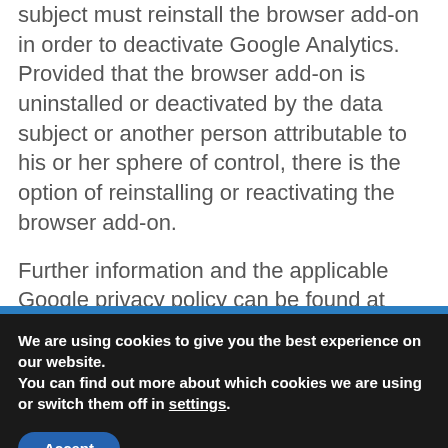subject must reinstall the browser add-on in order to deactivate Google Analytics. Provided that the browser add-on is uninstalled or deactivated by the data subject or another person attributable to his or her sphere of control, there is the option of reinstalling or reactivating the browser add-on.
Further information and the applicable Google privacy policy can be found at https://www.google.de/intl/de/policies/privacy/ and at
We are using cookies to give you the best experience on our website.
You can find out more about which cookies we are using or switch them off in settings.
Accept